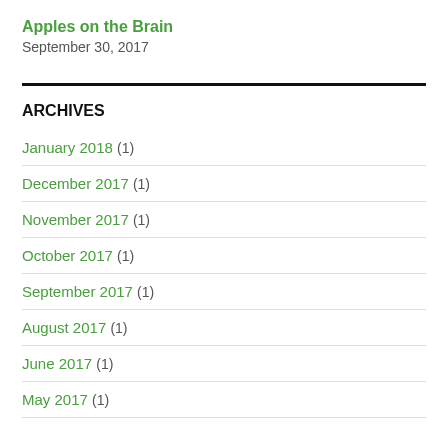Apples on the Brain
September 30, 2017
ARCHIVES
January 2018 (1)
December 2017 (1)
November 2017 (1)
October 2017 (1)
September 2017 (1)
August 2017 (1)
June 2017 (1)
May 2017 (1)